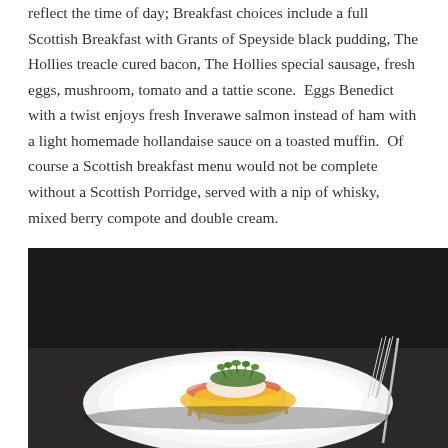reflect the time of day; Breakfast choices include a full Scottish Breakfast with Grants of Speyside black pudding, The Hollies treacle cured bacon, The Hollies special sausage, fresh eggs, mushroom, tomato and a tattie scone.  Eggs Benedict with a twist enjoys fresh Inverawe salmon instead of ham with a light homemade hollandaise sauce on a toasted muffin.  Of course a Scottish breakfast menu would not be complete without a Scottish Porridge, served with a nip of whisky, mixed berry compote and double cream.
[Figure (photo): A plated dish of Eggs Benedict with salmon on a white plate, topped with hollandaise sauce and microgreens, with a fork visible on the right side, on a dark background.]